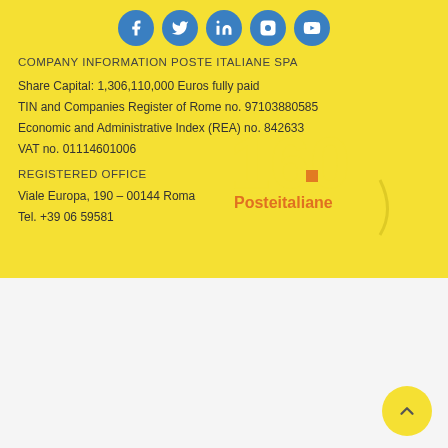[Figure (other): Social media icons: Facebook, Twitter, LinkedIn, Instagram, YouTube — blue circles with white icons]
COMPANY INFORMATION POSTE ITALIANE SPA
Share Capital: 1,306,110,000 Euros fully paid
TIN and Companies Register of Rome no. 97103880585
Economic and Administrative Index (REA) no. 842633
VAT no. 01114601006
[Figure (logo): Poste Italiane 160th anniversary logo overlay]
REGISTERED OFFICE
Viale Europa, 190 – 00144 Roma
Tel. +39 06 59581
We use our own and third-party cookies to help us improve our online services. By continuing to use our website you agree to the use of cookies. If you would like to find out more or opt out of some or all cookies, click on: read more.